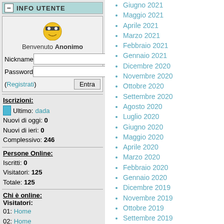INFO UTENTE
[Figure (illustration): Yellow smiley face avatar with dark glasses/band]
Benvenuto Anonimo
Nickname
Password
(Registrati) [Entra]
Iscrizioni:
Ultimo: dada
Nuovi di oggi: 0
Nuovi di ieri: 0
Complessivo: 246
Persone Online:
Iscritti: 0
Visitatori: 125
Totale: 125
Chi è online:
Visitatori:
01: Home
02: Home
03: Home
04: News
05: Home
06: News
07: Home
08: Home
09: Home
10: News
11: coppermine
12: Search
13: Home
14: Home
Giugno 2021
Maggio 2021
Aprile 2021
Marzo 2021
Febbraio 2021
Gennaio 2021
Dicembre 2020
Novembre 2020
Ottobre 2020
Settembre 2020
Agosto 2020
Luglio 2020
Giugno 2020
Maggio 2020
Aprile 2020
Marzo 2020
Febbraio 2020
Gennaio 2020
Dicembre 2019
Novembre 2019
Ottobre 2019
Settembre 2019
Agosto 2019
Luglio 2019
Giugno 2019
Maggio 2019
Aprile 2019
Marzo 2019
Febbraio 2019
Gennaio 2019
Dicembre 2018
Novembre 2018
Ottobre 2018
Settembre 2018
Agosto 2018
Luglio 2018
Giugno 2018
Maggio 2018
Aprile 2018
Marzo 2018
Febbraio 2018